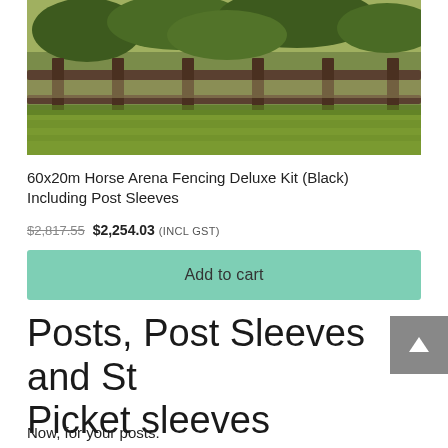[Figure (photo): Photograph of a horse arena with dark wooden post-and-rail fencing, green grass paddock, and trees in the background.]
60x20m Horse Arena Fencing Deluxe Kit (Black) Including Post Sleeves
$2,817.55  $2,254.03 (INCL GST)
Add to cart
Posts, Post Sleeves and St Picket sleeves
Now, for your posts.